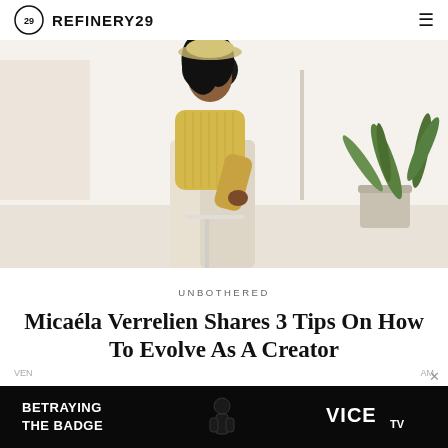REFINERY29
[Figure (photo): A person wearing a yellow ribbed sweater and cream/white wide-leg pants sits on a white stool in a minimalist bright room with a palm plant in the background.]
UNBOTHERED
Micaéla Verrelien Shares 3 Tips On How To Evolve As A Creator
[Figure (photo): Advertisement banner for VICE TV show 'Betraying The Badge' showing a silhouetted figure on a dark background with the VICE TV logo.]